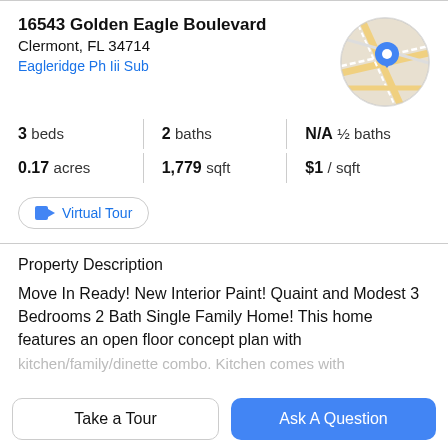16543 Golden Eagle Boulevard
Clermont, FL 34714
Eagleridge Ph Iii Sub
[Figure (map): Circular map thumbnail showing street map with a blue location pin marker]
3 beds | 2 baths | N/A ½ baths
0.17 acres | 1,779 sqft | $1 / sqft
Virtual Tour
Property Description
Move In Ready! New Interior Paint! Quaint and Modest 3 Bedrooms 2 Bath Single Family Home! This home features an open floor concept plan with
kitchen/family/dinette combo. Kitchen comes with
Take a Tour
Ask A Question